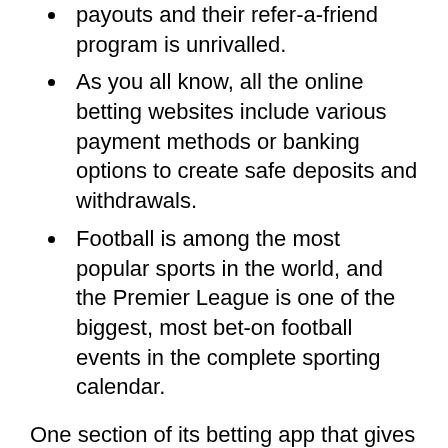payouts and their refer-a-friend program is unrivalled.
As you all know, all the online betting websites include various payment methods or banking options to create safe deposits and withdrawals.
Football is among the most popular sports in the world, and the Premier League is one of the biggest, most bet-on football events in the complete sporting calendar.
One section of its betting app that gives Unibet a distinct segment is that it has generated several mobile apps to utilise means of betting. For instance, Unibet Poker has its own separate app, as does Unibet Casino and then the primary app of Unibet